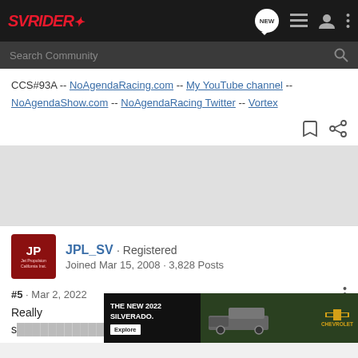SVRIDER — Search Community
CCS#93A -- NoAgendaRacing.com -- My YouTube channel -- NoAgendaShow.com -- NoAgendaRacing Twitter -- Vortex
[Figure (screenshot): Gray advertisement spacer area]
JPL_SV · Registered
Joined Mar 15, 2008 · 3,828 Posts
#5 · Mar 2, 2022
Really s...ime.
[Figure (photo): Chevrolet advertisement: THE NEW 2022 SILVERADO. Explore button. Chevy logo.]